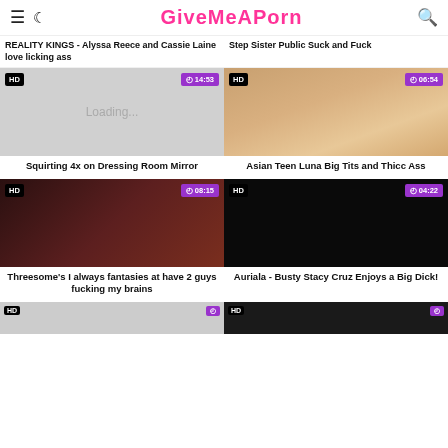GiveMeAPorn
REALITY KINGS - Alyssa Reece and Cassie Laine love licking ass
Step Sister Public Suck and Fuck
[Figure (screenshot): Video thumbnail loading placeholder with HD badge and 14:53 duration]
Squirting 4x on Dressing Room Mirror
[Figure (screenshot): Video thumbnail of Asian woman with HD badge and 06:54 duration]
Asian Teen Luna Big Tits and Thicc Ass
[Figure (screenshot): Video thumbnail of threesome scene with HD badge and 08:15 duration]
Threesome's I always fantasies at have 2 guys fucking my brains
[Figure (screenshot): Video thumbnail dark scene with HD badge and 04:22 duration]
Auriala - Busty Stacy Cruz Enjoys a Big Dick!